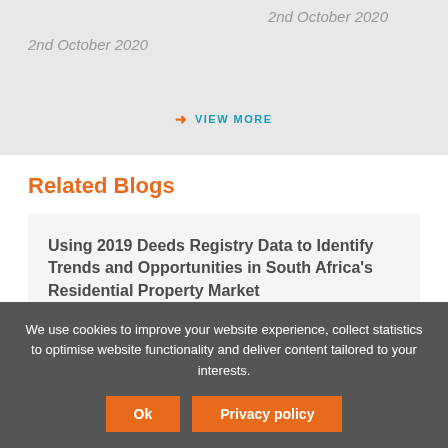2nd October 2020
2nd October 2020
→ VIEW MORE
Related Blogs
Using 2019 Deeds Registry Data to Identify Trends and Opportunities in South Africa's Residential Property Market
We use cookies to improve your website experience, collect statistics to optimise website functionality and deliver content tailored to your interests.
Ok
Privacy policy